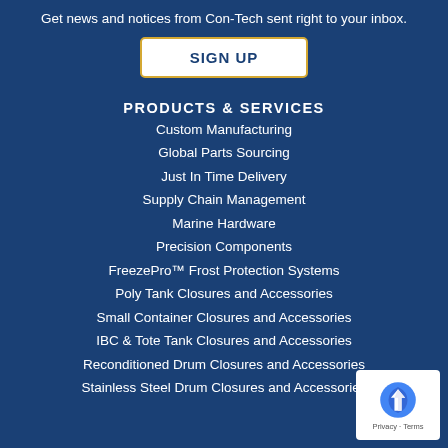Get news and notices from Con-Tech sent right to your inbox.
SIGN UP
PRODUCTS & SERVICES
Custom Manufacturing
Global Parts Sourcing
Just In Time Delivery
Supply Chain Management
Marine Hardware
Precision Components
FreezePro™ Frost Protection Systems
Poly Tank Closures and Accessories
Small Container Closures and Accessories
IBC & Tote Tank Closures and Accessories
Reconditioned Drum Closures and Accessories
Stainless Steel Drum Closures and Accessories
[Figure (logo): reCAPTCHA badge with Privacy and Terms text]